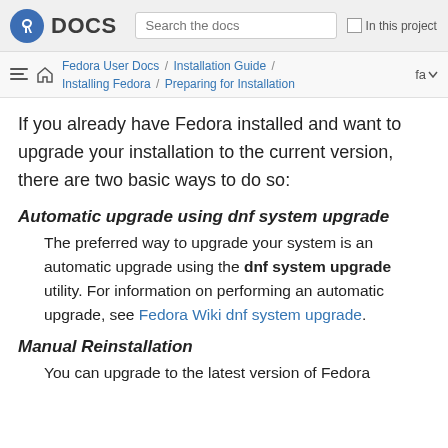Fedora DOCS — Search the docs — In this project
Fedora User Docs / Installation Guide / Installing Fedora / Preparing for Installation — fa
If you already have Fedora installed and want to upgrade your installation to the current version, there are two basic ways to do so:
Automatic upgrade using dnf system upgrade
The preferred way to upgrade your system is an automatic upgrade using the dnf system upgrade utility. For information on performing an automatic upgrade, see Fedora Wiki dnf system upgrade.
Manual Reinstallation
You can upgrade to the latest version of Fedora